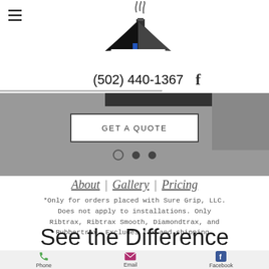(502) 440-1367
[Figure (logo): House/chimney logo with smoke]
GET A QUOTE
About | Gallery | Pricing
*Only for orders placed with Sure Grip, LLC. Does not apply to installations. Only Ribtrax, Ribtrax Smooth, Diamondtrax, and Rubbertrax. Excludes tax and shipping.
See the Difference
Phone  Email  Facebook